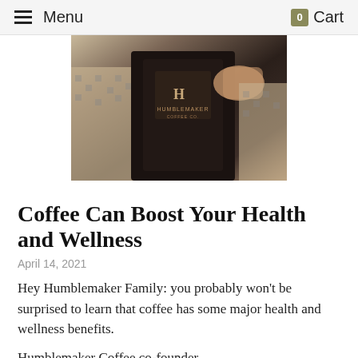Menu  Cart
[Figure (photo): Person in a houndstooth blazer holding a dark Humblemaker Coffee Co. branded mug/bag]
Coffee Can Boost Your Health and Wellness
April 14, 2021
Hey Humblemaker Family: you probably won't be surprised to learn that coffee has some major health and wellness benefits.
Humblemaker Coffee co-founder